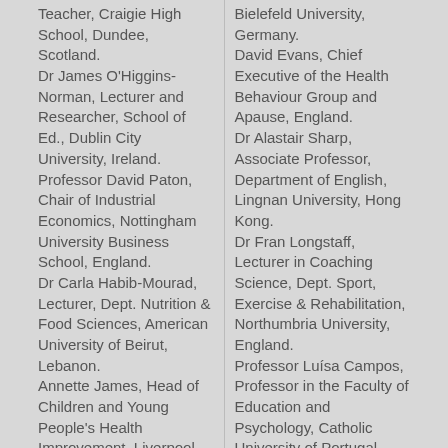Teacher, Craigie High School, Dundee, Scotland.
Dr James O'Higgins-Norman, Lecturer and Researcher, School of Ed., Dublin City University, Ireland.
Professor David Paton, Chair of Industrial Economics, Nottingham University Business School, England.
Dr Carla Habib-Mourad, Lecturer, Dept. Nutrition & Food Sciences, American University of Beirut, Lebanon.
Annette James, Head of Children and Young People's Health Improvement, Liverpool City Council, England.
Dr Kristin Cook, Assistant Professor, Bellarmine University, Louisville, USA.
Dr Fida Sanjakdar, Lecturer in Teacher Education, Monash
Bielefeld University, Germany.
David Evans, Chief Executive of the Health Behaviour Group and Apause, England.
Dr Alastair Sharp, Associate Professor, Department of English, Lingnan University, Hong Kong.
Dr Fran Longstaff, Lecturer in Coaching Science, Dept. Sport, Exercise & Rehabilitation, Northumbria University, England.
Professor Luísa Campos, Professor in the Faculty of Education and Psychology, Catholic University of Portugal, Portugal.
Martin Manby, Director, Nationwide Children's Research Centre, University of Huddersfield, England.
Dr Paul Yau-ho Wong, Senior Teaching Fellow, The Education University of Hong Kong.